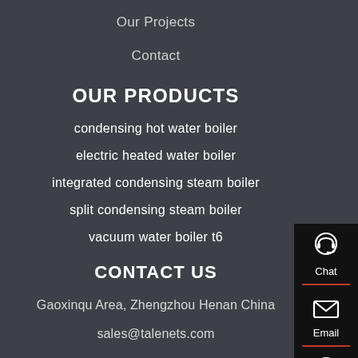Our Projects
Contact
OUR PRODUCTS
condensing hot water boiler
electric heated water boiler
integrated condensing steam boiler
split condensing steam boiler
vacuum water boiler t6
CONTACT US
Gaoxinqu Area, Zhengzhou Henan China
sales@talenets.com